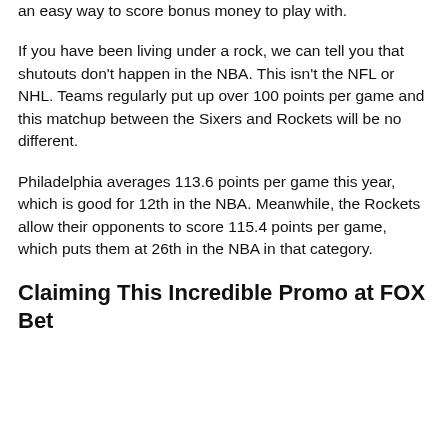an easy way to score bonus money to play with.
If you have been living under a rock, we can tell you that shutouts don't happen in the NBA. This isn't the NFL or NHL. Teams regularly put up over 100 points per game and this matchup between the Sixers and Rockets will be no different.
Philadelphia averages 113.6 points per game this year, which is good for 12th in the NBA. Meanwhile, the Rockets allow their opponents to score 115.4 points per game, which puts them at 26th in the NBA in that category.
Claiming This Incredible Promo at FOX Bet